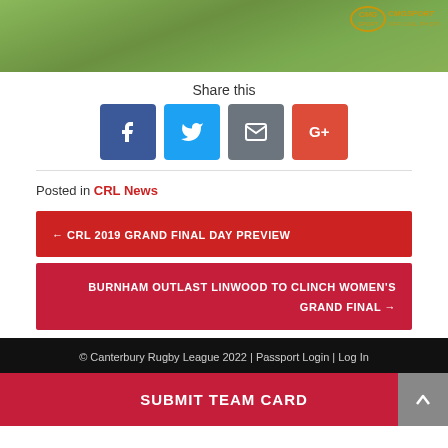[Figure (photo): Sports photo with CMGSport Official Photographers logo watermark, green field background]
Share this
[Figure (infographic): Four social share buttons: Facebook (blue), Twitter (light blue), Email (grey), Google+ (red-orange)]
Posted in CRL News
← CRL 2019 GRAND FINAL DAY PREVIEW
BURNHAM OUTLAST LINWOOD TO CLINCH WOMEN'S GRAND FINAL →
© Canterbury Rugby League 2022 | Passport Login | Log In
SUBMIT TEAM CARD